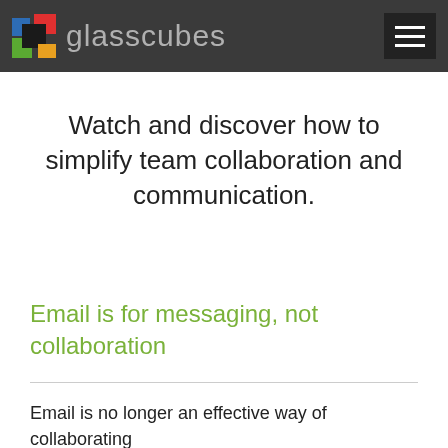glasscubes
Watch and discover how to simplify team collaboration and communication.
Email is for messaging, not collaboration
Email is no longer an effective way of collaborating